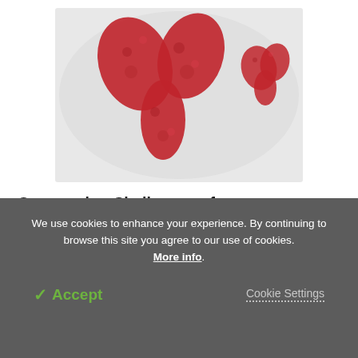[Figure (illustration): Scientific illustration of red antibody molecules shaped like a Y (resembling a heart shape) on a light grey background, with a smaller cluster of similar red molecules to the right.]
Overcoming Challenges of Biotherapeutics with Recombumin
[Figure (illustration): Scientific illustration showing a hexagonal golden/amber cell or capsule with red heart-shaped molecules inside, surrounded by teal/turquoise floating particles on a white background.]
We use cookies to enhance your experience. By continuing to browse this site you agree to our use of cookies. More info.
✓ Accept
Cookie Settings